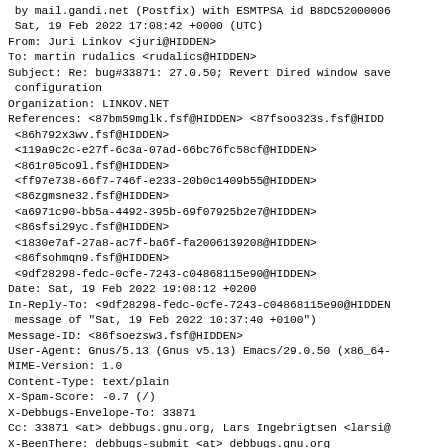by mail.gandi.net (Postfix) with ESMTPSA id B8DC52000006
 Sat, 19 Feb 2022 17:08:42 +0000 (UTC)
From: Juri Linkov <juri@HIDDEN>
To: martin rudalics <rudalics@HIDDEN>
Subject: Re: bug#33871: 27.0.50; Revert Dired window save
 configuration
Organization: LINKOV.NET
References: <87bm59mglk.fsf@HIDDEN> <87fsoo323s.fsf@HIDD
 <86h792x3wv.fsf@HIDDEN>
 <119a9c2c-e27f-6c3a-07ad-66bc76fc58cf@HIDDEN>
 <861r05co9l.fsf@HIDDEN>
 <ff97e738-66f7-746f-e233-20b0c1409b55@HIDDEN>
 <86zgmsne32.fsf@HIDDEN>
 <a6971c90-bb5a-4492-395b-69f07925b2e7@HIDDEN>
 <86sfsi29yc.fsf@HIDDEN>
 <1830e7af-27a8-ac7f-ba6f-fa20061392 08@HIDDEN>
 <86fsohmqn9.fsf@HIDDEN>
 <9df28298-fedc-0cfe-7243-c04868115e90@HIDDEN>
Date: Sat, 19 Feb 2022 19:08:12 +0200
In-Reply-To: <9df28298-fedc-0cfe-7243-c04868115e90@HIDDEN
 message of "Sat, 19 Feb 2022 10:37:40 +0100")
Message-ID: <86fsoezsw3.fsf@HIDDEN>
User-Agent: Gnus/5.13 (Gnus v5.13) Emacs/29.0.50 (x86_64-
MIME-Version: 1.0
Content-Type: text/plain
X-Spam-Score: -0.7 (/)
X-Debbugs-Envelope-To: 33871
Cc: 33871 <at> debbugs.gnu.org, Lars Ingebrigtsen <larsi@
X-BeenThere: debbugs-submit <at> debbugs.gnu.org
X-Mailman-Version: 2.1.18